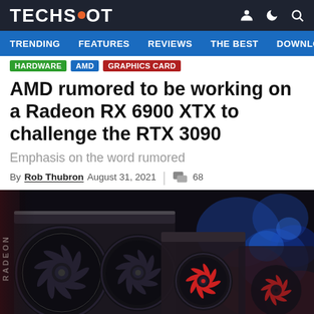TECHSPOT
TRENDING  FEATURES  REVIEWS  THE BEST  DOWNLC
HARDWARE  AMD  GRAPHICS CARD
AMD rumored to be working on a Radeon RX 6900 XTX to challenge the RTX 3090
Emphasis on the word rumored
By Rob Thubron  August 31, 2021  |  68
[Figure (photo): Close-up photo of AMD Radeon graphics cards with large triple-fan coolers against a dark background with colorful bokeh lighting (blue and red/orange).]